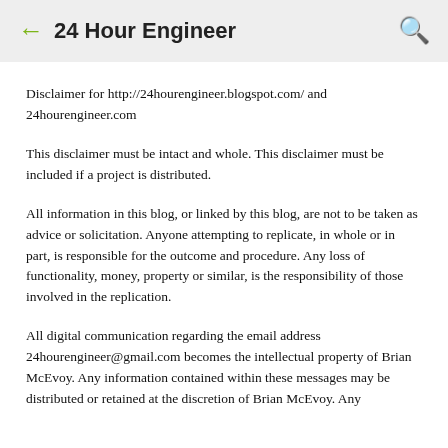24 Hour Engineer
Disclaimer for http://24hourengineer.blogspot.com/ and 24hourengineer.com
This disclaimer must be intact and whole. This disclaimer must be included if a project is distributed.
All information in this blog, or linked by this blog, are not to be taken as advice or solicitation. Anyone attempting to replicate, in whole or in part, is responsible for the outcome and procedure. Any loss of functionality, money, property or similar, is the responsibility of those involved in the replication.
All digital communication regarding the email address 24hourengineer@gmail.com becomes the intellectual property of Brian McEvoy. Any information contained within these messages may be distributed or retained at the discretion of Brian McEvoy. Any